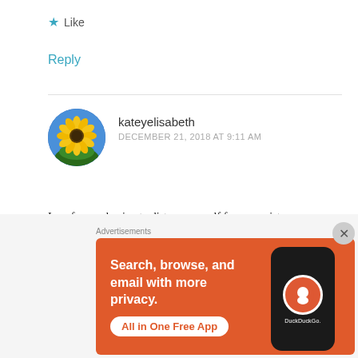★ Like
Reply
[Figure (photo): Circular avatar image of a sunflower against blue sky]
kateyelisabeth
DECEMBER 21, 2018 AT 9:11 AM
I am forever having to distance myself from my sister , we cannot spend to much time together , we either get toxic and fight, or she won't stop calling me to the point it makes me and my boyfriend fight as it's like having a third person in the
[Figure (screenshot): DuckDuckGo advertisement banner: Search, browse, and email with more privacy. All in One Free App. Shows phone with DuckDuckGo logo.]